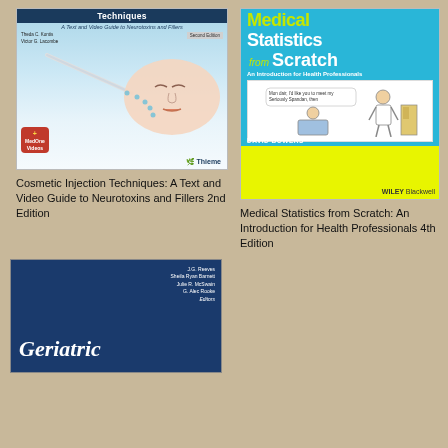[Figure (photo): Book cover: Cosmetic Injection Techniques: A Text and Video Guide to Neurotoxins and Fillers, Second Edition by Theda C. Kontis and Victor G. Lacombe. Published by Thieme. Cover shows a woman's face with injection technique illustration and MedOne Videos badge.]
[Figure (photo): Book cover: Medical Statistics from Scratch: An Introduction for Health Professionals by David Bowers, 4th Edition. Published by Wiley Blackwell. Cover has cyan/green-yellow color scheme with a cartoon illustration of a doctor and patient.]
Cosmetic Injection Techniques: A Text and Video Guide to Neurotoxins and Fillers 2nd Edition
Medical Statistics from Scratch: An Introduction for Health Professionals 4th Edition
[Figure (photo): Book cover: Geriatric (title partially visible). Dark navy blue cover with white text. Authors include J.G. Reeves, Sheila Ryan Barnett, Julie R. McSwain, G. Alec Rooke, Editors.]